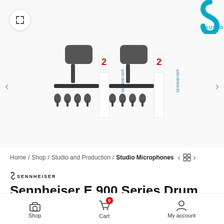[Figure (photo): Sennheiser E 900 Series Drum Kit product image showing microphone kit contents including microphones, clips, and carrying case, displayed twice side by side with quantity badges showing '2']
Home / Shop / Studio and Production / Studio Microphones
[Figure (logo): Sennheiser brand logo in black and white]
Sennheiser E 900 Series Drum Kit
₹124,500
Shop   Cart 0   My account